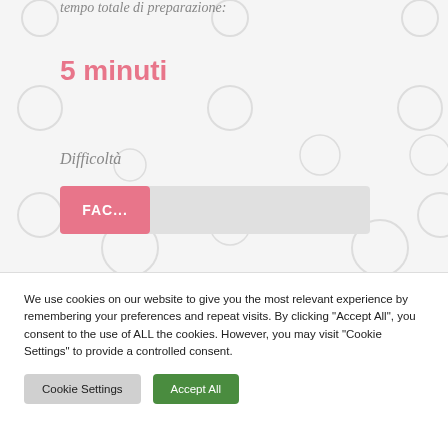tempo totale di preparazione:
5 minuti
Difficoltà
FAC...
We use cookies on our website to give you the most relevant experience by remembering your preferences and repeat visits. By clicking "Accept All", you consent to the use of ALL the cookies. However, you may visit "Cookie Settings" to provide a controlled consent.
Cookie Settings
Accept All